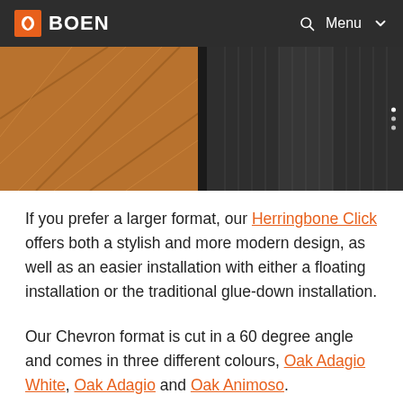BOEN | Menu
[Figure (photo): Interior photo showing herringbone wood flooring in warm brown tones on the left and dark metal/wood paneling on the right]
If you prefer a larger format, our Herringbone Click offers both a stylish and more modern design, as well as an easier installation with either a floating installation or the traditional glue-down installation.
Our Chevron format is cut in a 60 degree angle and comes in three different colours, Oak Adagio White, Oak Adagio and Oak Animoso.